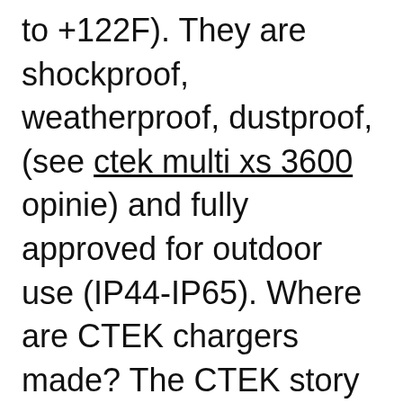to +122F). They are shockproof, weatherproof, dustproof, (see ctek multi xs 3600 opinie) and fully approved for outdoor use (IP44-IP65). Where are CTEK chargers made? The CTEK story starts over 30 years ago in Vikmanshyttan, a small village in Dalarna in Sweden. This is where the CTEK founder, Swedish inventor Bengt Weblqvist created the first ever